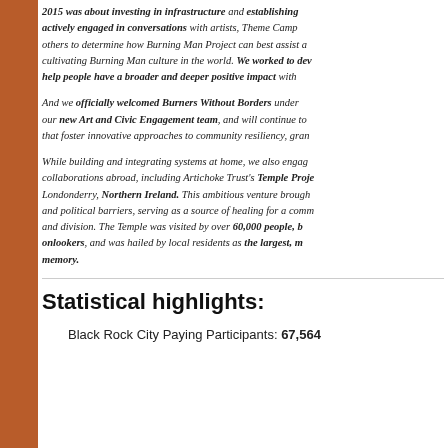2015 was about investing in infrastructure and establishing... actively engaged in conversations with artists, Theme Camps, others to determine how Burning Man Project can best assist cultivating Burning Man culture in the world. We worked to develop help people have a broader and deeper positive impact with...
And we officially welcomed Burners Without Borders under our new Art and Civic Engagement team, and will continue to... that foster innovative approaches to community resiliency, gran...
While building and integrating systems at home, we also engaged in collaborations abroad, including Artichoke Trust's Temple Project in Londonderry, Northern Ireland. This ambitious venture brought... and political barriers, serving as a source of healing for a community and division. The Temple was visited by over 60,000 people, by onlookers, and was hailed by local residents as the largest, most memorable event in living memory.
Statistical highlights:
Black Rock City Paying Participants: 67,564